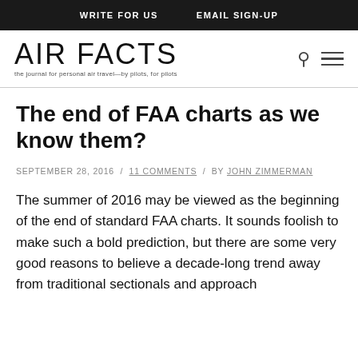WRITE FOR US   EMAIL SIGN-UP
[Figure (logo): Air Facts journal logo with tagline: the journal for personal air travel—by pilots, for pilots]
The end of FAA charts as we know them?
SEPTEMBER 28, 2016 / 11 COMMENTS / BY JOHN ZIMMERMAN
The summer of 2016 may be viewed as the beginning of the end of standard FAA charts. It sounds foolish to make such a bold prediction, but there are some very good reasons to believe a decade-long trend away from traditional sectionals and approach